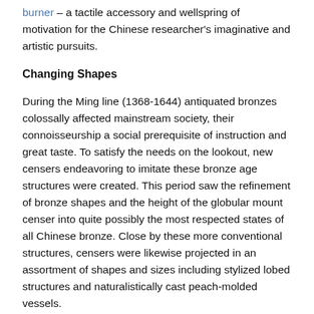burner – a tactile accessory and wellspring of motivation for the Chinese researcher's imaginative and artistic pursuits.
Changing Shapes
During the Ming line (1368-1644) antiquated bronzes colossally affected mainstream society, their connoisseurship a social prerequisite of instruction and great taste. To satisfy the needs on the lookout, new censers endeavoring to imitate these bronze age structures were created. This period saw the refinement of bronze shapes and the height of the globular mount censer into quite possibly the most respected states of all Chinese bronze. Close by these more conventional structures, censers were likewise projected in an assortment of shapes and sizes including stylized lobed structures and naturalistically cast peach-molded vessels.
The Making of a Censer
The earliest Chinese bronzes were made by piece-form projecting, an interaction that previously elaborate